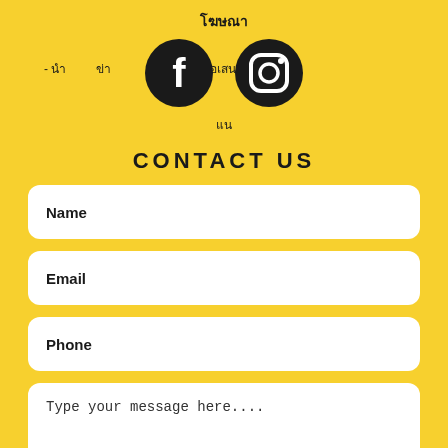โฆษณา
- นำ ข่า ข้อมุล หรือข้อเสนอ แน
[Figure (illustration): Two circular social media icons: Facebook (f logo) and Instagram (camera logo), both black on dark circle backgrounds]
CONTACT US
Name
Email
Phone
Type your message here....
Submit